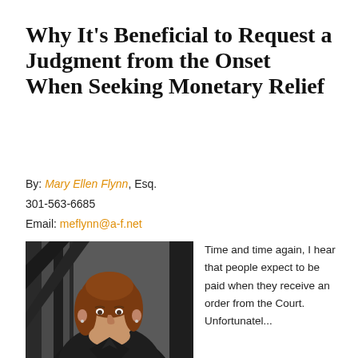Why It's Beneficial to Request a Judgment from the Onset When Seeking Monetary Relief
By: Mary Ellen Flynn, Esq.
301-563-6685
Email: meflynn@a-f.net
[Figure (photo): Headshot of Mary Ellen Flynn, a woman with reddish-brown hair, smiling, wearing a dark jacket, photographed in front of a dark structural background.]
Time and time again, I hear that people expect to be paid when they receive an order from the Court. Unfortunatel...